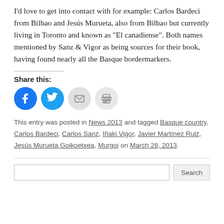I'd love to get into contact with for example: Carlos Bardeci from Bilbao and Jesús Murueta, also from Bilbao but currently living in Toronto and known as “El canadiense”. Both names mentioned by Sanz & Vigor as being sources for their book, having found nearly all the Basque bordermarkers.
Share this:
[Figure (other): Social share buttons: Facebook (blue circle), Twitter (blue circle), Email (grey circle with envelope), Print (grey circle with printer icon)]
This entry was posted in News 2013 and tagged Basque country, Carlos Bardeci, Carlos Sanz, Iñaki Vigor, Javier Martínez Ruiz, Jesús Murueta Goikoetxea, Murgoi on March 28, 2013.